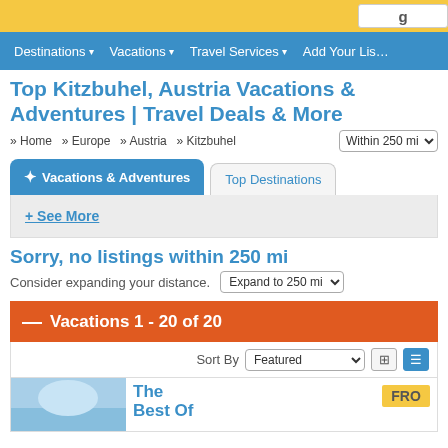Destinations ▾   Vacations ▾   Travel Services ▾   Add Your Listing
Top Kitzbuhel, Austria Vacations & Adventures | Travel Deals & More
» Home  » Europe  » Austria  » Kitzbuhel   Within 250 mi
Vacations & Adventures  |  Top Destinations
+ See More
Sorry, no listings within 250 mi
Consider expanding your distance.   Expand to 250 mi
— Vacations 1 - 20 of 20
Sort By  Featured
The Best Of
FRO